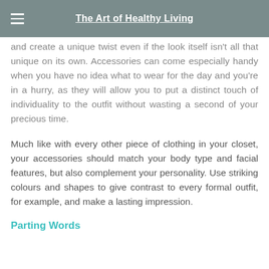The Art of Healthy Living
and create a unique twist even if the look itself isn't all that unique on its own. Accessories can come especially handy when you have no idea what to wear for the day and you're in a hurry, as they will allow you to put a distinct touch of individuality to the outfit without wasting a second of your precious time.
Much like with every other piece of clothing in your closet, your accessories should match your body type and facial features, but also complement your personality. Use striking colours and shapes to give contrast to every formal outfit, for example, and make a lasting impression.
Parting Words